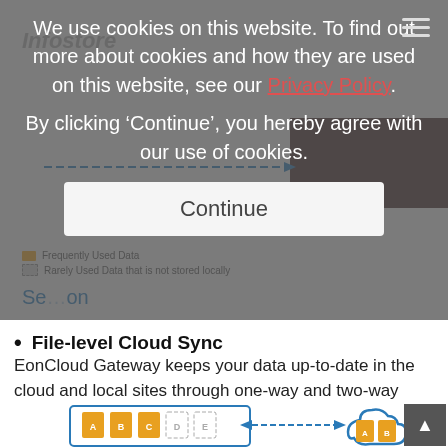[Figure (screenshot): Cookie consent modal overlay on a website. The modal contains text: 'We use cookies on this website. To find out more about cookies and how they are used on this website, see our Privacy Policy. By clicking Continue, you hereby agree with our use of cookies.' with a 'Continue' button. The underlying page shows a product page about File-level Cloud Sync with EonCloud Gateway text and a diagram of file sync between local and cloud storage.]
We use cookies on this website. To find out more about cookies and how they are used on this website, see our Privacy Policy. By clicking ‘Continue’, you hereby agree with our use of cookies.
File-level Cloud Sync
EonCloud Gateway keeps your data up-to-date in the cloud and local sites through one-way and two-way sync. What’s better, data syncing enables enterprises to keep complete business data on both sites, making disaster recovery easy and fast.